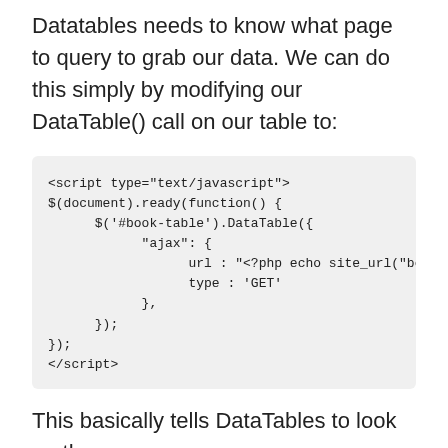Datatables needs to know what page to query to grab our data. We can do this simply by modifying our DataTable() call on our table to:
[Figure (screenshot): Code block showing a JavaScript snippet with DataTable AJAX configuration using jQuery document ready function, setting url to PHP site_url and type to GET]
This basically tells DataTables to look up the